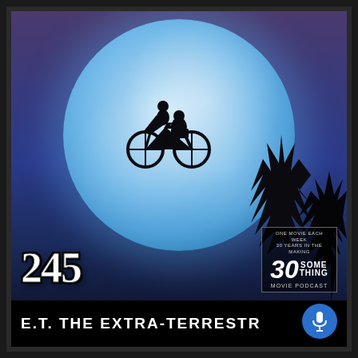[Figure (photo): E.T. the Extra-Terrestrial movie poster showing iconic silhouette of boy on bicycle flying across a large blue moon against purple night sky, with tree silhouettes in lower right]
245
[Figure (logo): 30Something Movie Podcast logo with microphone icon]
E.T. THE EXTRA-TERRESTR...